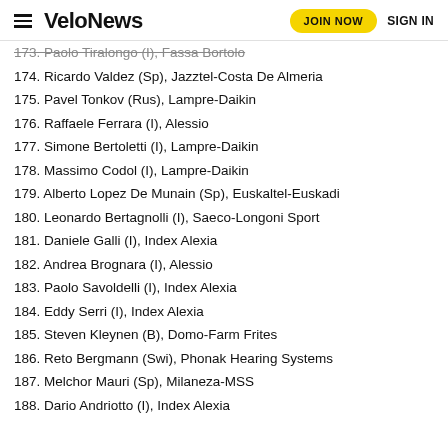VeloNews | JOIN NOW | SIGN IN
173. Paolo Tiralongo (I), Fassa Bortolo
174. Ricardo Valdez (Sp), Jazztel-Costa De Almeria
175. Pavel Tonkov (Rus), Lampre-Daikin
176. Raffaele Ferrara (I), Alessio
177. Simone Bertoletti (I), Lampre-Daikin
178. Massimo Codol (I), Lampre-Daikin
179. Alberto Lopez De Munain (Sp), Euskaltel-Euskadi
180. Leonardo Bertagnolli (I), Saeco-Longoni Sport
181. Daniele Galli (I), Index Alexia
182. Andrea Brognara (I), Alessio
183. Paolo Savoldelli (I), Index Alexia
184. Eddy Serri (I), Index Alexia
185. Steven Kleynen (B), Domo-Farm Frites
186. Reto Bergmann (Swi), Phonak Hearing Systems
187. Melchor Mauri (Sp), Milaneza-MSS
188. Dario Andriotto (I), Index Alexia